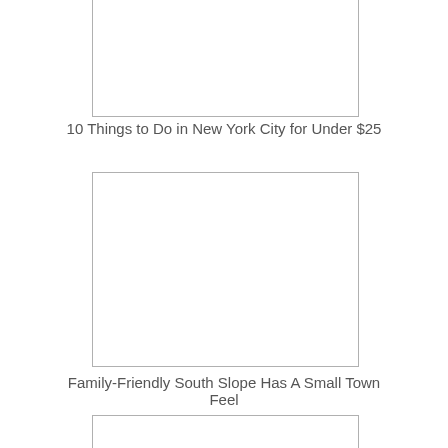[Figure (photo): Placeholder image box at top of page (partially visible, cropped at top)]
10 Things to Do in New York City for Under $25
[Figure (photo): Placeholder image box in middle of page]
Family-Friendly South Slope Has A Small Town Feel
[Figure (photo): Placeholder image box at bottom (partially visible, cropped at bottom)]